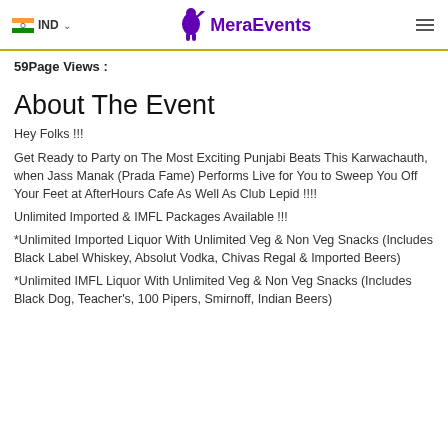IND  MeraEvents
59Page Views :
About The Event
Hey Folks !!!
Get Ready to Party on The Most Exciting Punjabi Beats This Karwachauth, when Jass Manak (Prada Fame) Performs Live for You to Sweep You Off Your Feet at AfterHours Cafe As Well As Club Lepid !!!!
Unlimited Imported & IMFL Packages Available !!!
*Unlimited Imported Liquor With Unlimited Veg & Non Veg Snacks (Includes Black Label Whiskey, Absolut Vodka, Chivas Regal & Imported Beers)
*Unlimited IMFL Liquor With Unlimited Veg & Non Veg Snacks (Includes Black Dog, Teacher's, 100 Pipers, Smirnoff, Indian Beers)